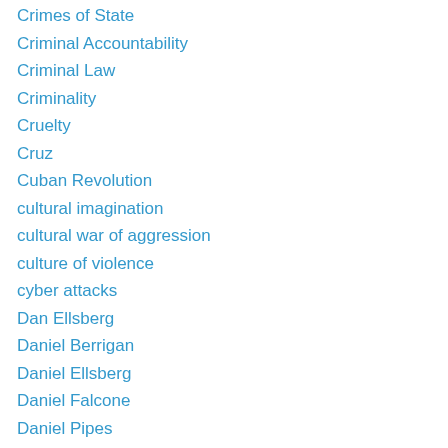Crimes of State
Criminal Accountability
Criminal Law
Criminality
Cruelty
Cruz
Cuban Revolution
cultural imagination
cultural war of aggression
culture of violence
cyber attacks
Dan Ellsberg
Daniel Berrigan
Daniel Ellsberg
Daniel Falcone
Daniel Pipes
Dany Danon
Dautoglu
David Krieger
Davutoglu